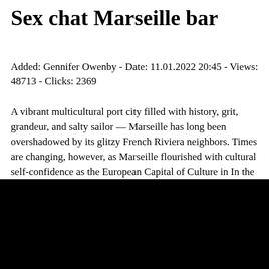Sex chat Marseille bar
Added: Gennifer Owenby - Date: 11.01.2022 20:45 - Views: 48713 - Clicks: 2369
A vibrant multicultural port city filled with history, grit, grandeur, and salty sailor — Marseille has long been overshadowed by its glitzy French Riviera neighbors. Times are changing, however, as Marseille flourished with cultural self-confidence as the European Capital of Culture in In the same year, it also hosted EuroPrideshowing the world its queer credentials and solidifying its place as an under-the-radar travel hot spot.
[Figure (photo): Black image block at the bottom of the page]